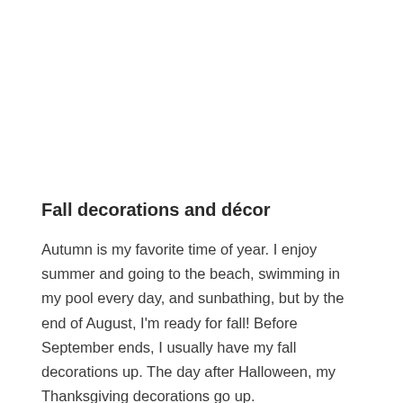Fall decorations and décor
Autumn is my favorite time of year. I enjoy summer and going to the beach, swimming in my pool every day, and sunbathing, but by the end of August, I'm ready for fall! Before September ends, I usually have my fall decorations up. The day after Halloween, my Thanksgiving decorations go up.